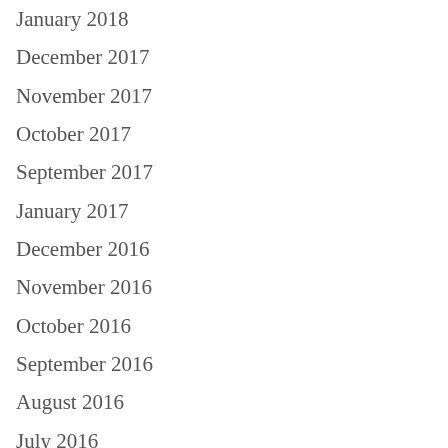January 2018
December 2017
November 2017
October 2017
September 2017
January 2017
December 2016
November 2016
October 2016
September 2016
August 2016
July 2016
June 2016